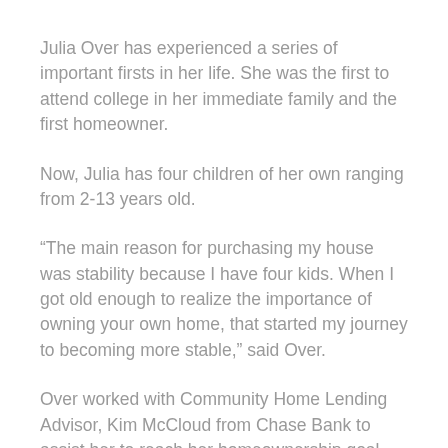Julia Over has experienced a series of important firsts in her life. She was the first to attend college in her immediate family and the first homeowner.
Now, Julia has four children of her own ranging from 2-13 years old.
“The main reason for purchasing my house was stability because I have four kids. When I got old enough to realize the importance of owning your own home, that started my journey to becoming more stable,” said Over.
Over worked with Community Home Lending Advisor, Kim McCloud from Chase Bank to assist her to reach her homeownership goal.